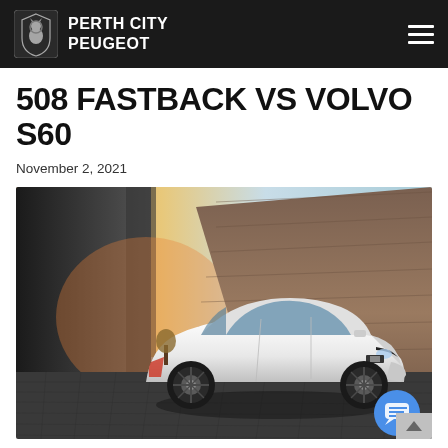PERTH CITY PEUGEOT
508 FASTBACK VS VOLVO S60
November 2, 2021
[Figure (photo): White Peugeot 508 Fastback sedan parked on cobblestone pavement in front of a large angular stone/concrete wall structure, with warm sunset light on the left and blue sky on the right.]